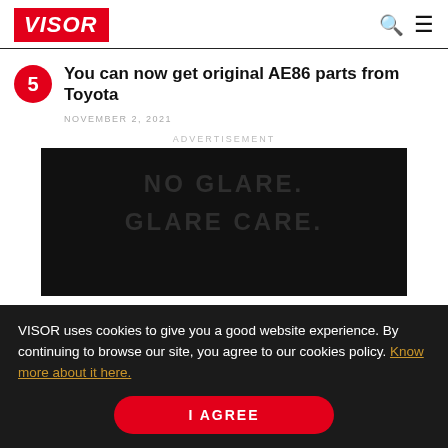VISOR
You can now get original AE86 parts from Toyota
NOVEMBER 2, 2021
ADVERTISEMENT
[Figure (photo): Dark advertisement image with text 'NO GLARE. GLARE CARE.' on a black background]
VISOR uses cookies to give you a good website experience. By continuing to browse our site, you agree to our cookies policy. Know more about it here.
I AGREE